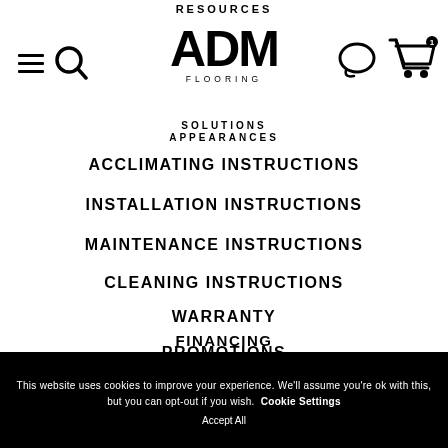RESOURCES
[Figure (logo): ADM Flooring logo with hamburger menu, search icon, chat and cart icons in header]
SOLUTIONS APPEARANCES
ACCLIMATING INSTRUCTIONS
INSTALLATION INSTRUCTIONS
MAINTENANCE INSTRUCTIONS
CLEANING INSTRUCTIONS
WARRANTY
FINANCING
PROMOTIONS
This website uses cookies to improve your experience. We'll assume you're ok with this, but you can opt-out if you wish. Cookie Settings Accept All